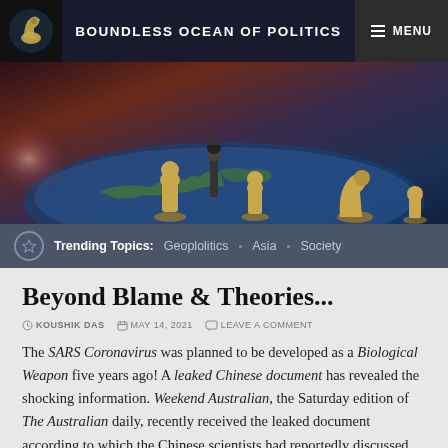BOUNDLESS OCEAN OF POLITICS  MENU
[Figure (photo): Hero banner image showing golden chess pieces (pawns and a knight) standing on top of a globe, with a dark dramatic background featuring a glowing light effect on the left side.]
Trending Topics: Geoplolitics • Asia • Society
Beyond Blame & Theories...
KOUSHIK DAS  MAY 14, 2021  LEAVE A COMMENT
The SARS Coronavirus was planned to be developed as a Biological Weapon five years ago! A leaked Chinese document has revealed the shocking information. Weekend Australian, the Saturday edition of The Australian daily, recently received the leaked document according to which the Chinese scientists had reportedly discussed about